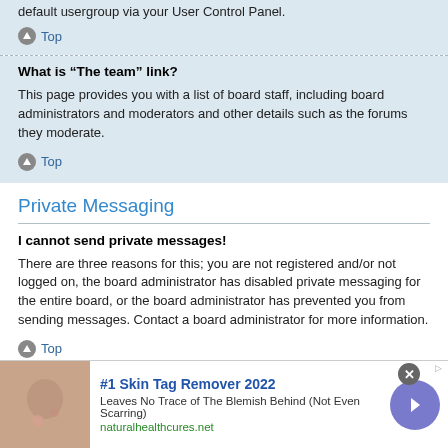default usergroup via your User Control Panel.
Top
What is “The team” link?
This page provides you with a list of board staff, including board administrators and moderators and other details such as the forums they moderate.
Top
Private Messaging
I cannot send private messages!
There are three reasons for this; you are not registered and/or not logged on, the board administrator has disabled private messaging for the entire board, or the board administrator has prevented you from sending messages. Contact a board administrator for more information.
Top
I keep getting unwanted private messages!
[Figure (infographic): Advertisement banner: #1 Skin Tag Remover 2022. Leaves No Trace of The Blemish Behind (Not Even Scarring). naturalhealthcures.net]